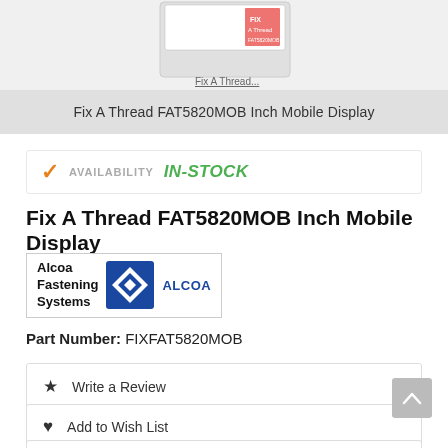[Figure (photo): Product photo of Fix A Thread FAT5820MOB Inch Mobile Display, shown as a white box/package with red label markings, partially visible at top of page.]
Fix A Thread FAT5820MOB Inch Mobile Display
AVAILABILITY IN-STOCK
Fix A Thread FAT5820MOB Inch Mobile Display
[Figure (logo): Alcoa Fastening Systems logo with blue diamond shape and ALCOA wordmark in blue.]
Part Number: FIXFAT5820MOB
Write a Review
Add to Wish List
Email a friend